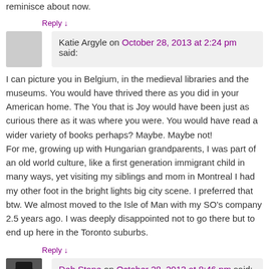reminisce about now.
Reply ↓
Katie Argyle on October 28, 2013 at 2:24 pm said:
I can picture you in Belgium, in the medieval libraries and the museums. You would have thrived there as you did in your American home. The You that is Joy would have been just as curious there as it was where you were. You would have read a wider variety of books perhaps? Maybe. Maybe not!
For me, growing up with Hungarian grandparents, I was part of an old world culture, like a first generation immigrant child in many ways, yet visiting my siblings and mom in Montreal I had my other foot in the bright lights big city scene. I preferred that btw. We almost moved to the Isle of Man with my SO's company 2.5 years ago. I was deeply disappointed not to go there but to end up here in the Toronto suburbs.
Reply ↓
Deb Stone on October 28, 2013 at 8:46 pm said:
Roads taken and not taken. I imagine that you would have